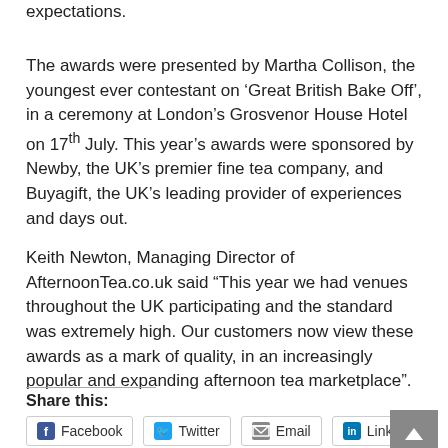expectations.
The awards were presented by Martha Collison, the youngest ever contestant on ‘Great British Bake Off’, in a ceremony at London’s Grosvenor House Hotel on 17th July. This year’s awards were sponsored by Newby, the UK’s premier fine tea company, and Buyagift, the UK’s leading provider of experiences and days out.
Keith Newton, Managing Director of AfternoonTea.co.uk said “This year we had venues throughout the UK participating and the standard was extremely high. Our customers now view these awards as a mark of quality, in an increasingly popular and expanding afternoon tea marketplace”.
Share this:
Facebook   Twitter   Email   LinkedIn